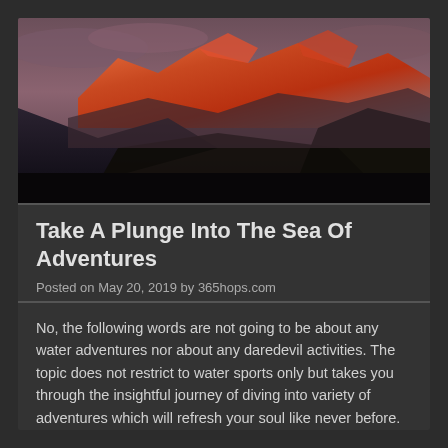[Figure (photo): Mountain at dusk/dawn with red and orange light illuminating snow-capped peaks against dark rocky slopes and cloudy sky]
Take A Plunge Into The Sea Of Adventures
Posted on May 20, 2019 by 365hops.com
No, the following words are not going to be about any water adventures nor about any daredevil activities. The topic does not restrict to water sports only but takes you through the insightful journey of diving into variety of adventures which will refresh your soul like never before. River Rafting in Rishikesh Rishikesh is the […]